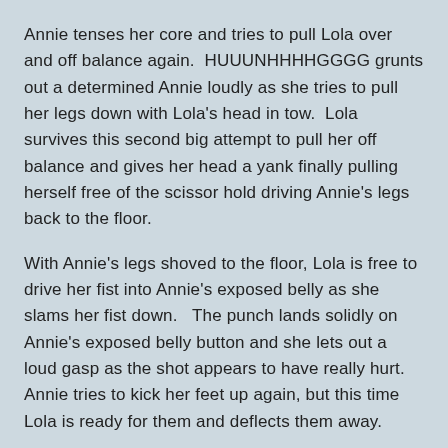Annie tenses her core and tries to pull Lola over and off balance again.  HUUUNHHHHGGGG grunts out a determined Annie loudly as she tries to pull her legs down with Lola's head in tow.  Lola survives this second big attempt to pull her off balance and gives her head a yank finally pulling herself free of the scissor hold driving Annie's legs back to the floor.
With Annie's legs shoved to the floor, Lola is free to drive her fist into Annie's exposed belly as she slams her fist down.   The punch lands solidly on Annie's exposed belly button and she lets out a loud gasp as the shot appears to have really hurt.  Annie tries to kick her feet up again, but this time Lola is ready for them and deflects them away.
Placing both hands roughly down on Annie's chest, Lola mashes both breasts as she uses them to push down